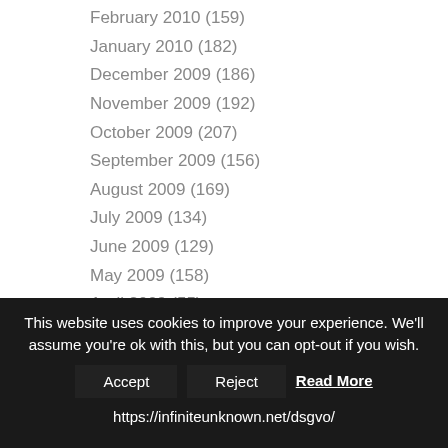February 2010 (159)
January 2010 (182)
December 2009 (186)
November 2009 (192)
October 2009 (207)
September 2009 (156)
August 2009 (169)
July 2009 (134)
June 2009 (129)
May 2009 (158)
April 2009 (55)
March 2009 (258)
February 2009 (297)
January 2009 (329)
December 2008 (354)
This website uses cookies to improve your experience. We'll assume you're ok with this, but you can opt-out if you wish.
Accept  Reject  Read More
https://infiniteunknown.net/dsgvo/